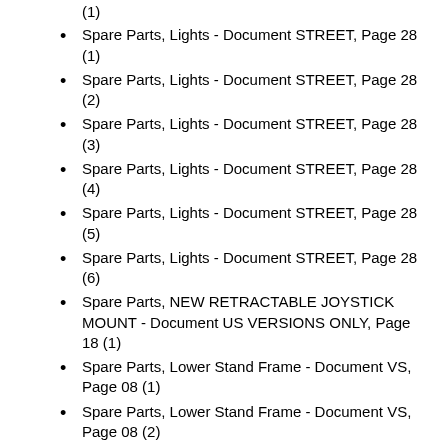(1)
Spare Parts, Lights - Document STREET, Page 28 (1)
Spare Parts, Lights - Document STREET, Page 28 (2)
Spare Parts, Lights - Document STREET, Page 28 (3)
Spare Parts, Lights - Document STREET, Page 28 (4)
Spare Parts, Lights - Document STREET, Page 28 (5)
Spare Parts, Lights - Document STREET, Page 28 (6)
Spare Parts, NEW RETRACTABLE JOYSTICK MOUNT - Document US VERSIONS ONLY, Page 18 (1)
Spare Parts, Lower Stand Frame - Document VS, Page 08 (1)
Spare Parts, Lower Stand Frame - Document VS, Page 08 (2)